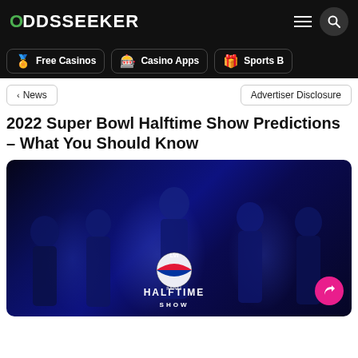ODDSSEEKER
Free Casinos
Casino Apps
Sports B...
< News
Advertiser Disclosure
2022 Super Bowl Halftime Show Predictions - What You Should Know
[Figure (photo): Promotional photo of the 2022 Super Bowl Halftime Show performers standing in blue-lit scene with Pepsi Halftime Show logo, featuring Dr. Dre and other artists in silhouette against dramatic blue lighting.]